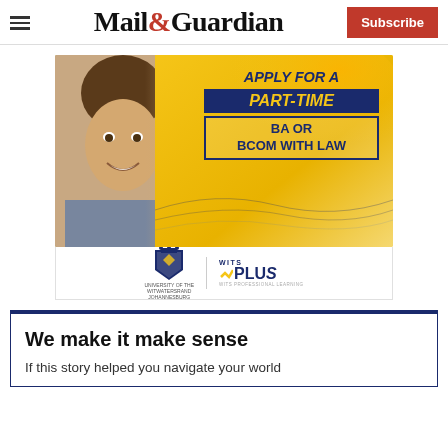Mail&Guardian — Subscribe
[Figure (photo): Advertisement for Wits University showing a young man smiling, with text 'Apply for a Part-Time BA or BCom with Law' on a yellow/gold background with blue accents. Wits University and Wits Plus logos at bottom.]
We make it make sense
If this story helped you navigate your world